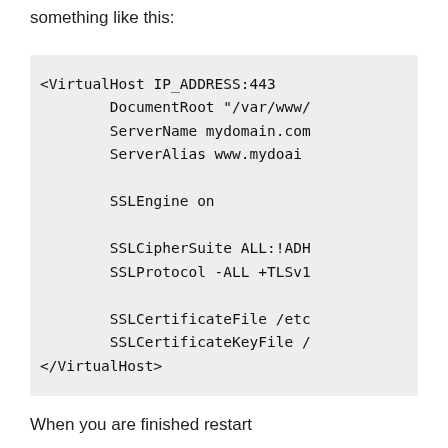something like this:
<VirtualHost IP_ADDRESS:443
        DocumentRoot "/var/www/
        ServerName mydomain.com
        ServerAlias www.mydomain

        SSLEngine on

        SSLCipherSuite ALL:!ADH
        SSLProtocol -ALL +TLSv1

        SSLCertificateFile /etc
        SSLCertificateKeyFile /
</VirtualHost>
When you are finished restart